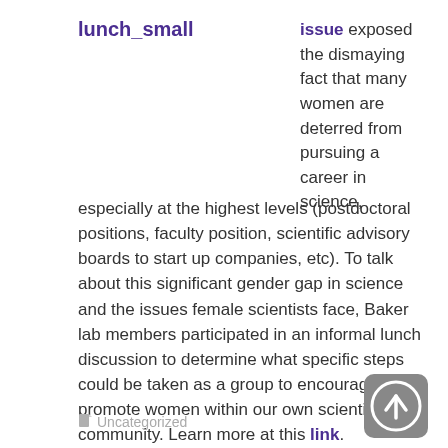lunch_small
issue exposed the dismaying fact that many women are deterred from pursuing a career in science, especially at the highest levels (postdoctoral positions, faculty position, scientific advisory boards to start up companies, etc). To talk about this significant gender gap in science and the issues female scientists face, Baker lab members participated in an informal lunch discussion to determine what specific steps could be taken as a group to encourage and promote women within our own scientific community. Learn more at this link.
Uncategorized